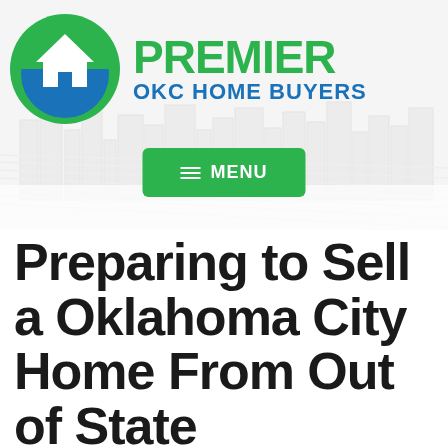[Figure (logo): Premier OKC Home Buyers logo: circular green and blue icon with house/mountain silhouette, and text PREMIER in bold green with OKC HOME BUYERS in blue below]
[Figure (screenshot): Green MENU button with hamburger icon (three horizontal lines)]
Preparing to Sell a Oklahoma City Home From Out of State